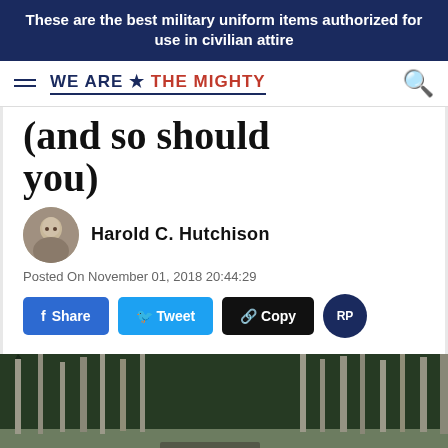These are the best military uniform items authorized for use in civilian attire
(and so should you)
Harold C. Hutchison
Posted On November 01, 2018 20:44:29
Share  Tweet  Copy
[Figure (photo): A wooded forest scene with tall birch and pine trees, with a military vehicle visible in the lower portion of the image.]